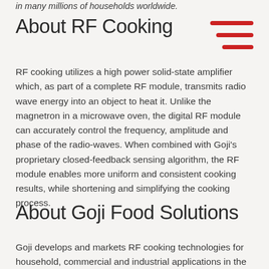in many millions of households worldwide.
About RF Cooking
RF cooking utilizes a high power solid-state amplifier which, as part of a complete RF module, transmits radio wave energy into an object to heat it. Unlike the magnetron in a microwave oven, the digital RF module can accurately control the frequency, amplitude and phase of the radio-waves. When combined with Goji's proprietary closed-feedback sensing algorithm, the RF module enables more uniform and consistent cooking results, while shortening and simplifying the cooking process.
About Goji Food Solutions
Goji develops and markets RF cooking technologies for household, commercial and industrial applications in the food industry. The